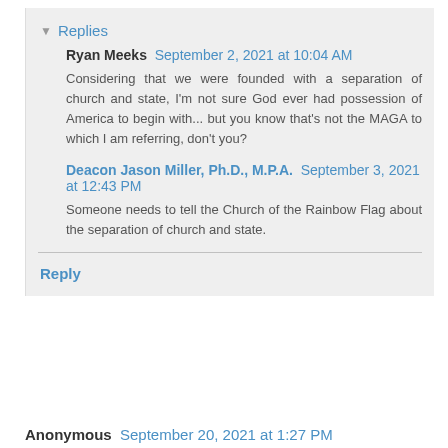Replies
Ryan Meeks  September 2, 2021 at 10:04 AM
Considering that we were founded with a separation of church and state, I'm not sure God ever had possession of America to begin with... but you know that's not the MAGA to which I am referring, don't you?
Deacon Jason Miller, Ph.D., M.P.A.  September 3, 2021 at 12:43 PM
Someone needs to tell the Church of the Rainbow Flag about the separation of church and state.
Reply
Anonymous  September 20, 2021 at 1:27 PM